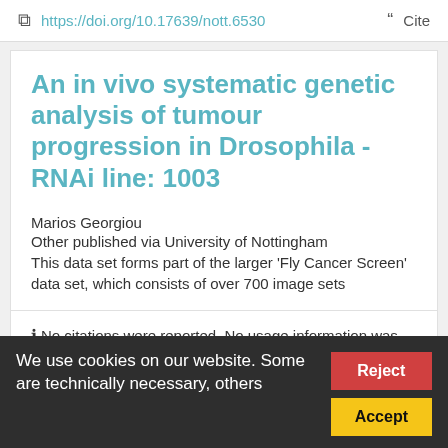https://doi.org/10.17639/nott.6530  Cite
An in vivo systematic genetic analysis of tumour progression in Drosophila - RNAi line: 1003
Marios Georgiou
Other published via University of Nottingham
This data set forms part of the larger 'Fly Cancer Screen' data set, which consists of over 700 image sets
No citations were reported. No usage information was reported.
We use cookies on our website. Some are technically necessary, others
Reject  Accept